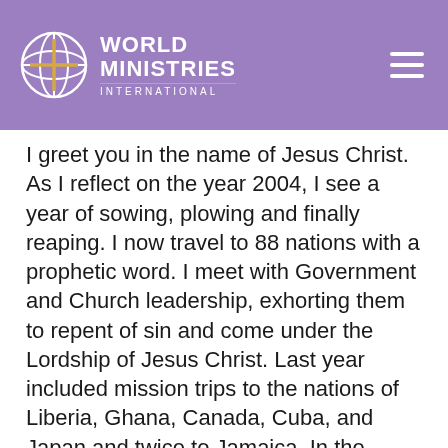WORLD MINISTRIES INTERNATIONAL
I greet you in the name of Jesus Christ. As I reflect on the year 2004, I see a year of sowing, plowing and finally reaping. I now travel to 88 nations with a prophetic word. I meet with Government and Church leadership, exhorting them to repent of sin and come under the Lordship of Jesus Christ. Last year included mission trips to the nations of Liberia, Ghana, Canada, Cuba, and Japan and twice to Jamaica. In the United States I had the opportunity to minister in Washington State, Georgia, Missouri, New York, and two trips to Texas and Florida.
In addition to traveling the world with the message of warning God has given me, we produce our daily